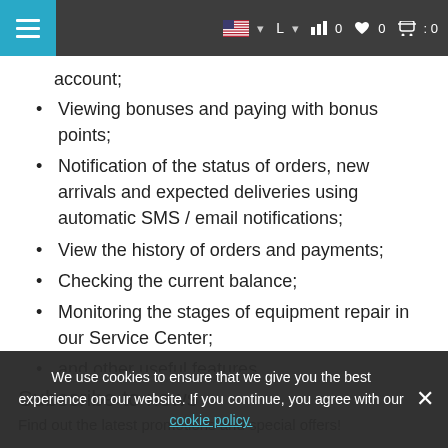Navigation bar with hamburger menu, flag icon (US), L dropdown, bar chart icon 0, heart icon 0, cart icon 0
account;
Viewing bonuses and paying with bonus points;
Notification of the status of orders, new arrivals and expected deliveries using automatic SMS / email notifications;
View the history of orders and payments;
Checking the current balance;
Monitoring the stages of equipment repair in our Service Center;
and other useful features ..
Subscribe to news
Find out the latest promotions and special offers!
We use cookies to ensure that we give you the best experience on our website. If you continue, you agree with our cookie policy.